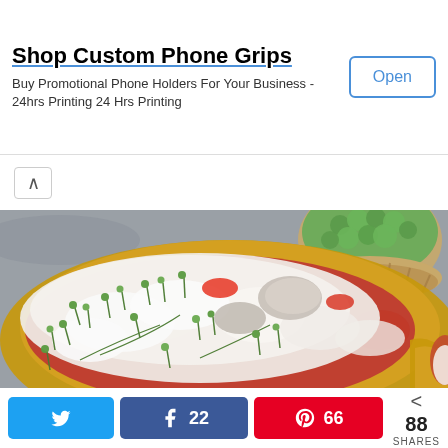Shop Custom Phone Grips
Buy Promotional Phone Holders For Your Business - 24hrs Printing 24 Hrs Printing
[Figure (photo): Food photo showing a dish with melted mozzarella, tomato sauce and microgreens served in a gold pan, with a basket of herbs in the upper right and another dish partially visible on the lower right. Gray stone background.]
22
66
88 SHARES